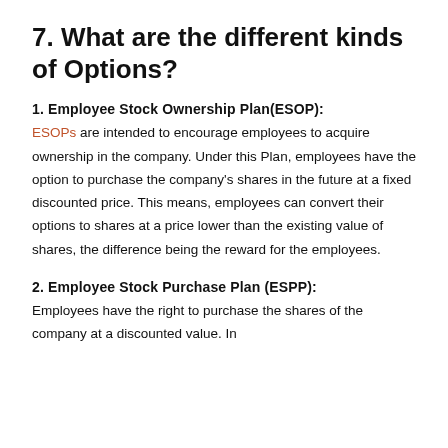7. What are the different kinds of Options?
1. Employee Stock Ownership Plan(ESOP):
ESOPs are intended to encourage employees to acquire ownership in the company. Under this Plan, employees have the option to purchase the company's shares in the future at a fixed discounted price. This means, employees can convert their options to shares at a price lower than the existing value of shares, the difference being the reward for the employees.
2. Employee Stock Purchase Plan (ESPP):
Employees have the right to purchase the shares of the company at a discounted value. In